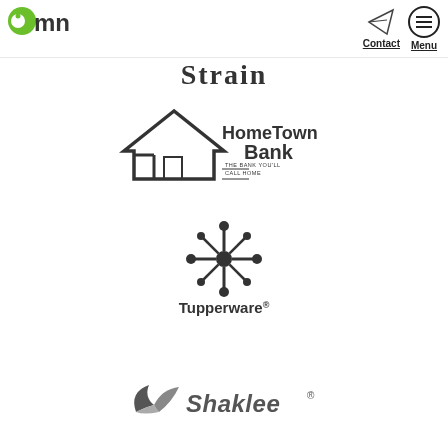imn — Contact Menu
[Figure (logo): Partially visible logo text 'Strain' at top center]
[Figure (logo): HomeTown Bank logo with house icon and tagline 'The Bank You'll Call Home']
[Figure (logo): Tupperware logo with circular floral/snowflake mark above the Tupperware wordmark]
[Figure (logo): Shaklee logo with leaf/wing icon and italic Shaklee wordmark]